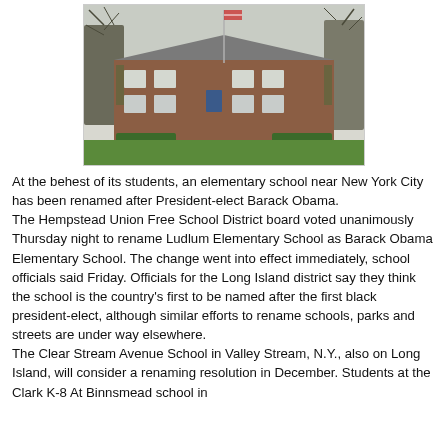[Figure (photo): Photograph of an elementary school building — a low brick building with a flagpole in the center, trees lining the sides, a pathway leading to the entrance, and green lawn in the foreground.]
At the behest of its students, an elementary school near New York City has been renamed after President-elect Barack Obama.
The Hempstead Union Free School District board voted unanimously Thursday night to rename Ludlum Elementary School as Barack Obama Elementary School. The change went into effect immediately, school officials said Friday. Officials for the Long Island district say they think the school is the country's first to be named after the first black president-elect, although similar efforts to rename schools, parks and streets are under way elsewhere.
The Clear Stream Avenue School in Valley Stream, N.Y., also on Long Island, will consider a renaming resolution in December. Students at the Clark K-8 At Binnsmead school in